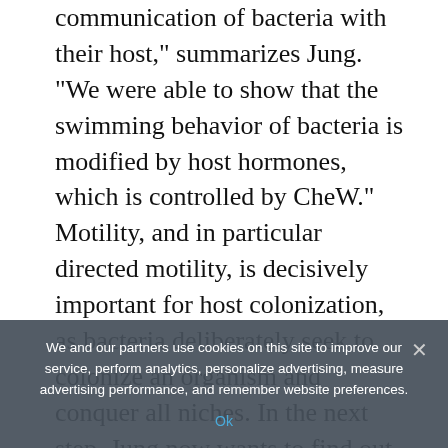communication of bacteria with their host," summarizes Jung. "We were able to show that the swimming behavior of bacteria is modified by host hormones, which is controlled by CheW." Motility, and in particular directed motility, is decisively important for host colonization, as bacteria deliberately seek to colonize an organism and conquer all niches. In the next step, Jung now wants to find out whether the same mechanism can be detected in other bacteria.
Source:
Ludwig-Maximilians-Universität München
We and our partners use cookies on this site to improve our service, perform analytics, personalize advertising, measure advertising performance, and remember website preferences.
Ok